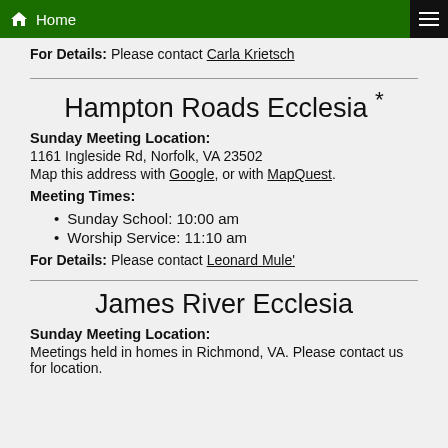Home
For Details: Please contact Carla Krietsch
Hampton Roads Ecclesia *
Sunday Meeting Location:
1161 Ingleside Rd, Norfolk, VA 23502
Map this address with Google, or with MapQuest.
Meeting Times:
Sunday School: 10:00 am
Worship Service: 11:10 am
For Details: Please contact Leonard Mule'
James River Ecclesia
Sunday Meeting Location:
Meetings held in homes in Richmond, VA. Please contact us for location.